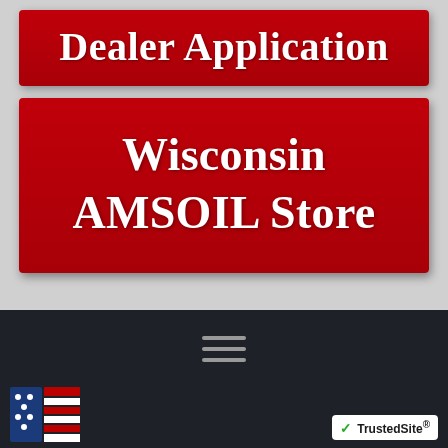Dealer Application
Wisconsin AMSOIL Store
[Figure (other): Hamburger/navigation menu icon — three horizontal grey lines on dark background]
[Figure (logo): AMSOIL logo with American flag and red rectangle on dark background bottom left]
[Figure (logo): TrustedSite badge with green checkmark on white background, bottom right]